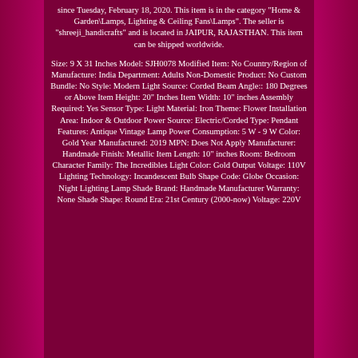since Tuesday, February 18, 2020. This item is in the category "Home & Garden\Lamps, Lighting & Ceiling Fans\Lamps". The seller is "shreeji_handicrafts" and is located in JAIPUR, RAJASTHAN. This item can be shipped worldwide.
Size: 9 X 31 Inches Model: SJH0078 Modified Item: No Country/Region of Manufacture: India Department: Adults Non-Domestic Product: No Custom Bundle: No Style: Modern Light Source: Corded Beam Angle:: 180 Degrees or Above Item Height: 20" Inches Item Width: 10" inches Assembly Required: Yes Sensor Type: Light Material: Iron Theme: Flower Installation Area: Indoor & Outdoor Power Source: Electric/Corded Type: Pendant Features: Antique Vintage Lamp Power Consumption: 5 W - 9 W Color: Gold Year Manufactured: 2019 MPN: Does Not Apply Manufacturer: Handmade Finish: Metallic Item Length: 10" inches Room: Bedroom Character Family: The Incredibles Light Color: Gold Output Voltage: 110V Lighting Technology: Incandescent Bulb Shape Code: Globe Occasion: Night Lighting Lamp Shade Brand: Handmade Manufacturer Warranty: None Shade Shape: Round Era: 21st Century (2000-now) Voltage: 220V